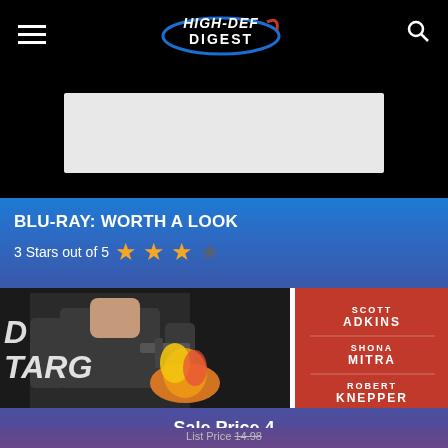High-Def Digest
[Figure (other): Advertisement placeholder box (light gray rectangle)]
BLU-RAY: WORTH A LOOK
3 Stars out of 5
[Figure (photo): Movie cover image showing an action hero with fire, red background with actor names: Scott Adkins, Shona Mitra, Robert Knepper. Title partially visible: 'D TARG']
Sale Price 4
List Price 14.98
Buy Now